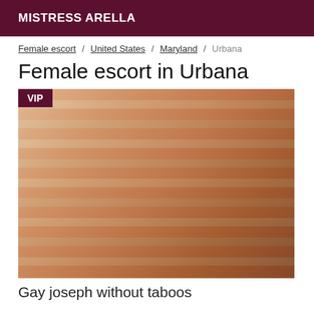MISTRESS ARELLA
Female escort / United States / Maryland / Urbana
Female escort in Urbana
[Figure (photo): A man lying on a bed with red and grey striped wall behind him, shirtless, looking at camera. VIP badge in top left corner.]
Gay joseph without taboos